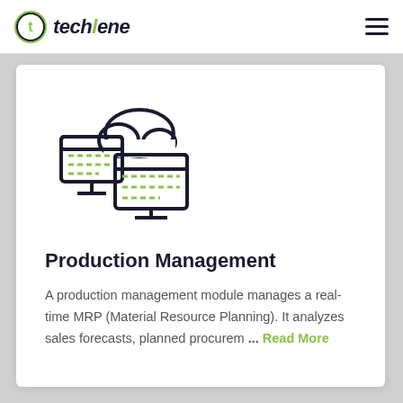techlene
[Figure (illustration): Icon showing a monitor/desktop computer with a cloud and dashed arrows indicating cloud sync or data transfer, in dark navy and yellow-green colors]
Production Management
A production management module manages a real-time MRP (Material Resource Planning). It analyzes sales forecasts, planned procurem ... Read More